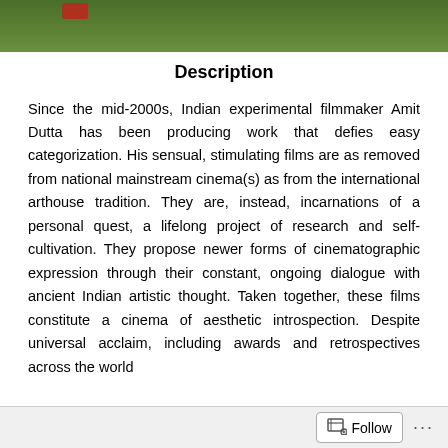[Figure (photo): Green grass/outdoor scene with a partial red element visible at top]
Description
Since the mid-2000s, Indian experimental filmmaker Amit Dutta has been producing work that defies easy categorization. His sensual, stimulating films are as removed from national mainstream cinema(s) as from the international arthouse tradition. They are, instead, incarnations of a personal quest, a lifelong project of research and self-cultivation. They propose newer forms of cinematographic expression through their constant, ongoing dialogue with ancient Indian artistic thought. Taken together, these films constitute a cinema of aesthetic introspection. Despite universal acclaim, including awards and retrospectives across the world
Follow ...